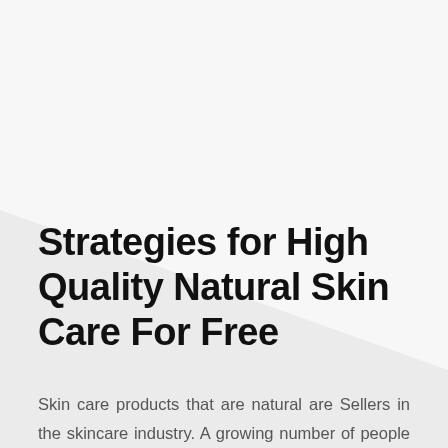[Figure (illustration): Diagonal geometric shape in upper portion of page — a light gray triangular/polygonal area overlaid on a slightly darker gray background, creating a decorative graphic element.]
Strategies for High Quality Natural Skin Care For Free
Skin care products that are natural are Sellers in the skincare industry. A growing number of people are recognizing that the compounds